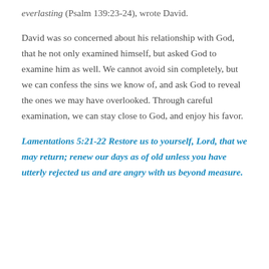everlasting (Psalm 139:23-24), wrote David.
David was so concerned about his relationship with God, that he not only examined himself, but asked God to examine him as well. We cannot avoid sin completely, but we can confess the sins we know of, and ask God to reveal the ones we may have overlooked. Through careful examination, we can stay close to God, and enjoy his favor.
Lamentations 5:21-22 Restore us to yourself, Lord, that we may return; renew our days as of old unless you have utterly rejected us and are angry with us beyond measure.